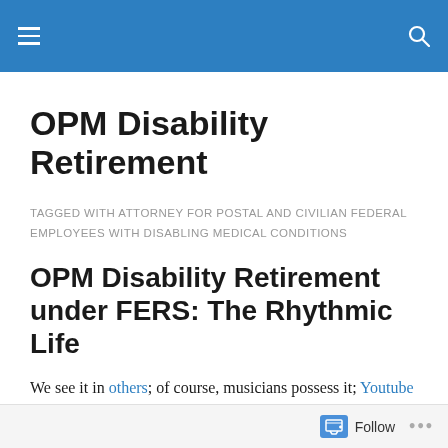OPM Disability Retirement
OPM Disability Retirement
TAGGED WITH ATTORNEY FOR POSTAL AND CIVILIAN FEDERAL EMPLOYEES WITH DISABLING MEDICAL CONDITIONS
OPM Disability Retirement under FERS: The Rhythmic Life
We see it in others; of course, musicians possess it; Youtube videos which go viral; some grandmothers who seem
Follow